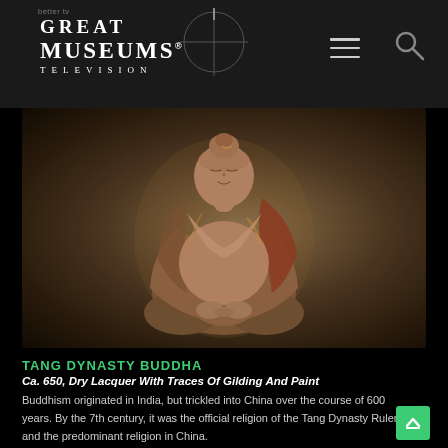GREAT MUSEUMS TELEVISION
[Figure (photo): A Tang Dynasty Buddha statue in seated meditation pose (dhyana mudra), made of dry lacquer with traces of gilding and red/orange paint, photographed against a warm dark brown background.]
TANG DYNASTY BUDDHA
Ca. 650, Dry Lacquer With Traces Of Gilding And Paint
Buddhism originated in India, but trickled into China over the course of 600 years. By the 7th century, it was the official religion of the Tang Dynasty Rulers and the predominant religion in China.